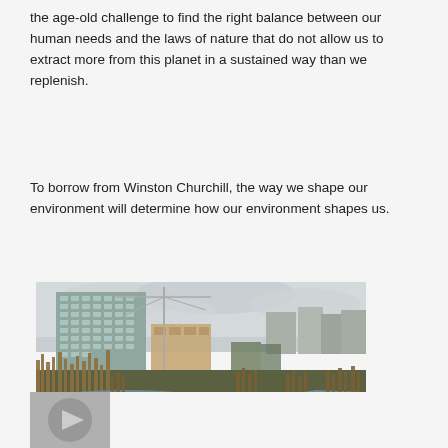the age-old challenge to find the right balance between our human needs and the laws of nature that do not allow us to extract more from this planet in a sustained way than we replenish.
To borrow from Winston Churchill, the way we shape our environment will determine how our environment shapes us.
[Figure (photo): Outdoor photograph showing a wetland or marsh area with a stream in the foreground, tall dry grasses and reeds on the banks, and modern multi-storey glass buildings under construction with a tall crane in the background against an overcast grey sky.]